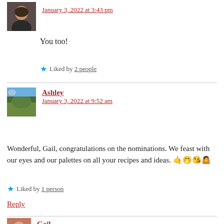January 3, 2022 at 3:43 pm
You too!
★ Liked by 2 people
Ashley
January 3, 2022 at 9:52 am
Wonderful, Gail, congratulations on the nominations. We feast with our eyes and our palettes on all your recipes and ideas. 🤙🤭😘🤷
★ Liked by 1 person
Reply
Gail